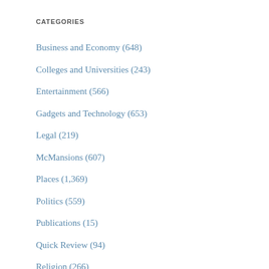CATEGORIES
Business and Economy (648)
Colleges and Universities (243)
Entertainment (566)
Gadgets and Technology (653)
Legal (219)
McMansions (607)
Places (1,369)
Politics (559)
Publications (15)
Quick Review (94)
Religion (266)
Sociology (6,976)
Sports (269)